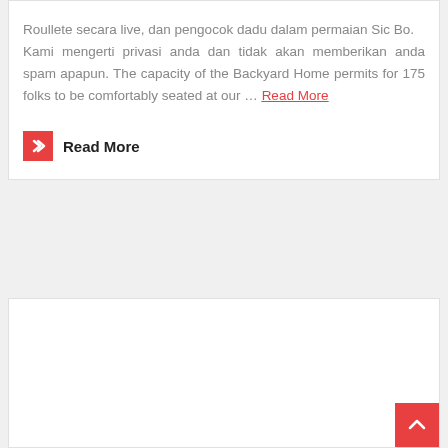Roullete secara live, dan pengocok dadu dalam permaian Sic Bo. Kami mengerti privasi anda dan tidak akan memberikan anda spam apapun. The capacity of the Backyard Home permits for 175 folks to be comfortably seated at our … Read More
Read More
← Older